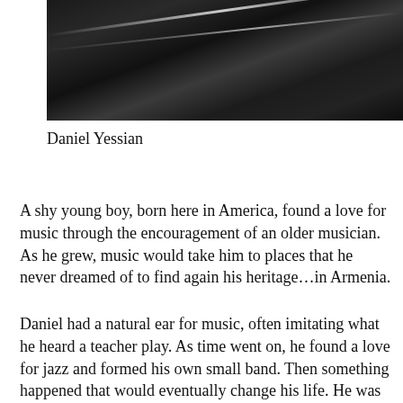[Figure (photo): Close-up dark photograph of what appears to be a shiny black musical instrument (likely a piano or similar), with reflective highlights forming curved lines across the dark surface.]
Daniel Yessian
A shy young boy, born here in America, found a love for music through the encouragement of an older musician. As he grew, music would take him to places that he never dreamed of to find again his heritage…in Armenia.
Daniel had a natural ear for music, often imitating what he heard a teacher play. As time went on, he found a love for jazz and formed his own small band. Then something happened that would eventually change his life. He was